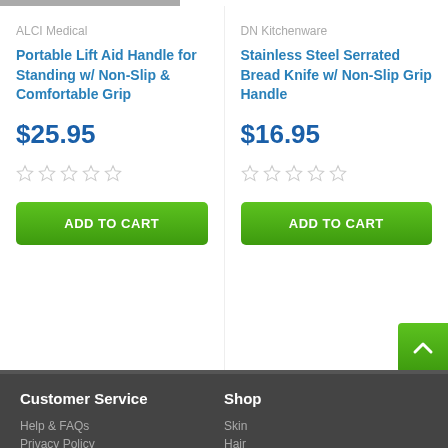ALCI Medical
Portable Lift Aid Handle for Standing w/ Non-Slip & Comfortable Grip
$25.95
★★★★★ (empty stars)
ADD TO CART
DN Kitchenware
Stainless Steel Serrated Bread Knife w/ Non-Slip Grip Handle
$16.95
★★★★★ (empty stars)
ADD TO CART
Customer Service
Shop
Help & FAQs
Privacy Policy
Skin
Hair